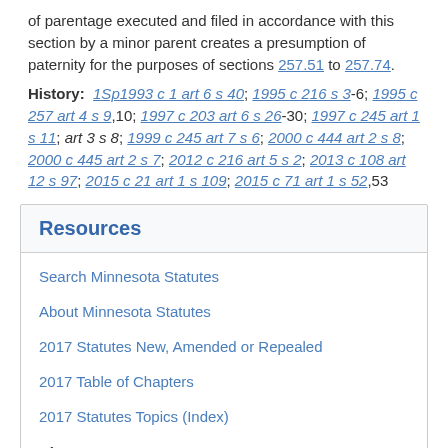of parentage executed and filed in accordance with this section by a minor parent creates a presumption of paternity for the purposes of sections 257.51 to 257.74.
History: 1Sp1993 c 1 art 6 s 40; 1995 c 216 s 3-6; 1995 c 257 art 4 s 9,10; 1997 c 203 art 6 s 26-30; 1997 c 245 art 1 s 11; art 3 s 8; 1999 c 245 art 7 s 6; 2000 c 444 art 2 s 8; 2000 c 445 art 2 s 7; 2012 c 216 art 5 s 2; 2013 c 108 art 12 s 97; 2015 c 21 art 1 s 109; 2015 c 71 art 1 s 52,53
Resources
Search Minnesota Statutes
About Minnesota Statutes
2017 Statutes New, Amended or Repealed
2017 Table of Chapters
2017 Statutes Topics (Index)
Chapter 257
Table of Sections